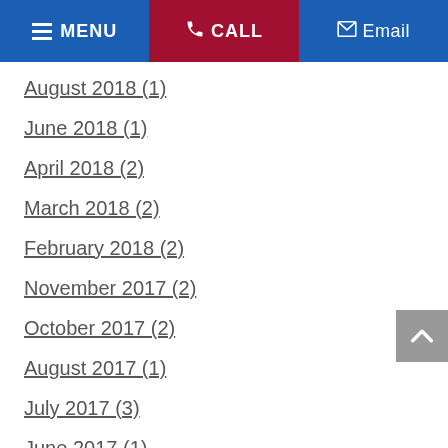MENU  CALL  Email
August 2018 (1)
June 2018 (1)
April 2018 (2)
March 2018 (2)
February 2018 (2)
November 2017 (2)
October 2017 (2)
August 2017 (1)
July 2017 (3)
June 2017 (1)
April 2017 (3)
March 2017 (1)